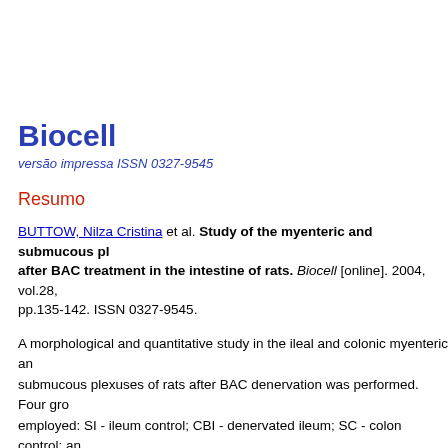Biocell
versão impressa ISSN 0327-9545
Resumo
BUTTOW, Nilza Cristina et al. Study of the myenteric and submucous plexuses after BAC treatment in the intestine of rats. Biocell [online]. 2004, vol.28, pp.135-142. ISSN 0327-9545.
A morphological and quantitative study in the ileal and colonic myenteric and submucous plexuses of rats after BAC denervation was performed. Four groups were employed: SI - ileum control; CBI - denervated ileum; SC - colon control; and denervated colon. We used the Myosin-V immunohistochemistry technique for myenteric and submucous plexuses. In the submucous plexus of the ileum and colon there was not a significant decrease in the number of neurons/mm2 and of ganglia/mm2. The denervation of the myenteric plexus in the group CBI was in the group CBC, 68.3%. In the myenteric plexus there was also a significant decrease in the number of ganglia/mm2 (13.8% in group CBI and 52.14% in group CBC) and the number of neurons/ganglion (33.9% in group CBI and 39.6% in group C morphological analyses showed that there was an alteration in the shape of of the ileal and colonic myenteric plexus. The area of the cell bodies had a s